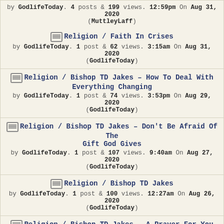by GodlifeToday. 4 posts & 199 views. 12:59pm On Aug 31, 2020 (MuttleyLaff)
Religion / Faith In Crises — by GodlifeToday. 1 post & 62 views. 3:15am On Aug 31, 2020 (GodlifeToday)
Religion / Bishop TD Jakes – How To Deal With Everything Changing — by GodlifeToday. 1 post & 74 views. 3:53pm On Aug 29, 2020 (GodlifeToday)
Religion / Bishop TD Jakes – Don't Be Afraid Of The Gift God Gives — by GodlifeToday. 1 post & 107 views. 9:40am On Aug 27, 2020 (GodlifeToday)
Religion / Bishop TD Jakes — by GodlifeToday. 1 post & 100 views. 12:27am On Aug 26, 2020 (GodlifeToday)
Religion / Bishop TD Jakes – A Prayer For You — by GodlifeToday. 1 post & 72 views. 5:40pm On Aug 24, 2020 (GodlifeToday)